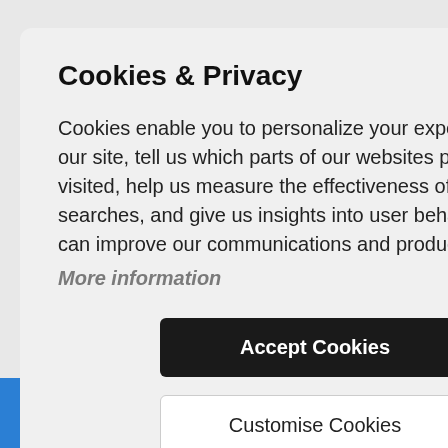[Figure (screenshot): Background of a web page partially visible behind the cookie consent modal, showing a 't' character in the top right and form input fields on the right side, with a blue navigation bar at the bottom.]
Cookies & Privacy
Cookies enable you to personalize your experience on our site, tell us which parts of our websites people have visited, help us measure the effectiveness of ads and web searches, and give us insights into user behavior so we can improve our communications and products.
More information
Accept Cookies
Customise Cookies